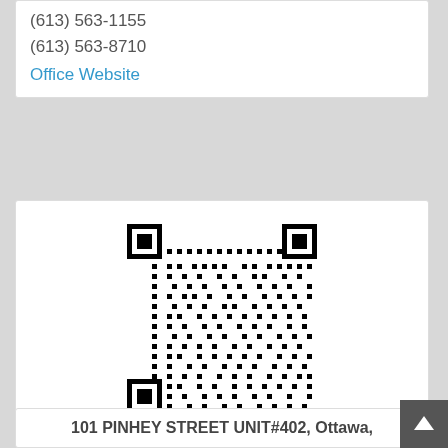(613) 563-1155
(613) 563-8710
Office Website
[Figure (other): QR code]
101 PINHEY STREET UNIT#402, Ottawa,